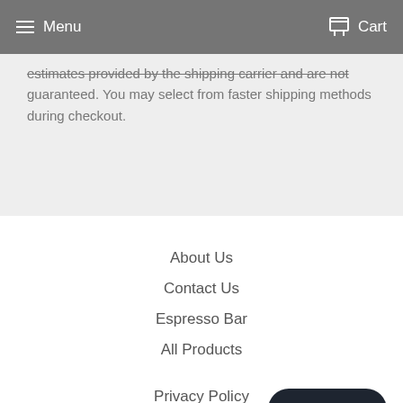Menu   Cart
estimates provided by the shipping carrier and are not guaranteed. You may select from faster shipping methods during checkout.
About Us
Contact Us
Espresso Bar
All Products
Privacy Policy
Shipping Policy
Refund policy
Terms of Use